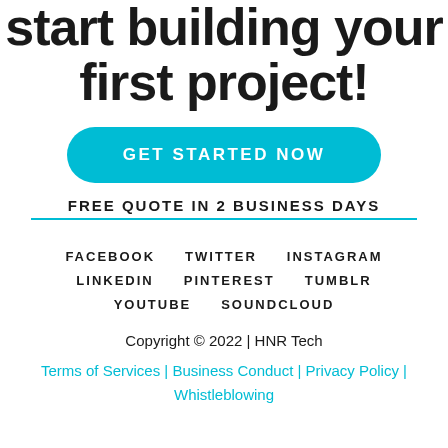start building your first project!
GET STARTED NOW
FREE QUOTE IN 2 BUSINESS DAYS
FACEBOOK   TWITTER   INSTAGRAM
LINKEDIN   PINTEREST   TUMBLR
YOUTUBE   SOUNDCLOUD
Copyright © 2022 | HNR Tech
Terms of Services | Business Conduct | Privacy Policy | Whistleblowing